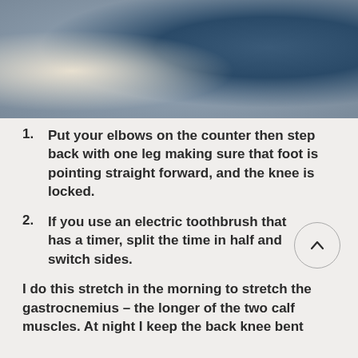[Figure (photo): Blurred photo of a person, partially showing clothing in beige/cream and dark blue/teal colors against a light background]
Put your elbows on the counter then step back with one leg making sure that foot is pointing straight forward, and the knee is locked.
If you use an electric toothbrush that has a timer, split the time in half and switch sides.
I do this stretch in the morning to stretch the gastrocnemius – the longer of the two calf muscles.  At night I keep the back knee bent